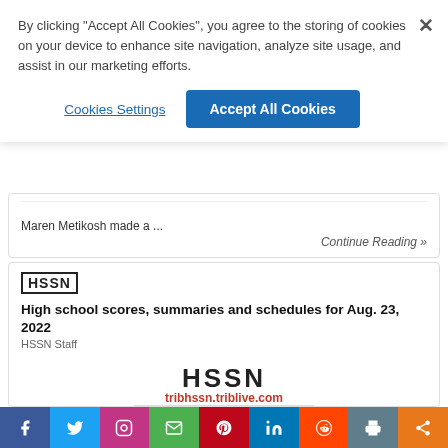By clicking "Accept All Cookies", you agree to the storing of cookies on your device to enhance site navigation, analyze site usage, and assist in our marketing efforts.
Cookies Settings
Accept All Cookies
Maren Metikosh made a ...
Continue Reading »
HSSN
High school scores, summaries and schedules for Aug. 23, 2022
HSSN Staff
[Figure (logo): HSSN logo with tribhssn.triblive.com URL text below, horizontal rule beneath]
[Figure (photo): Pile of sports balls including soccer ball, basketball, football, volleyball, and tennis ball]
Facebook | Twitter | Instagram | Email | Pinterest | LinkedIn | Reddit | Print | Share